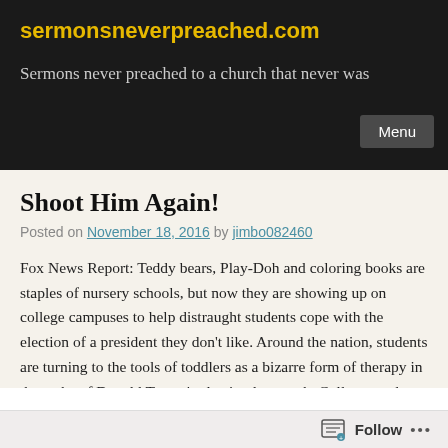sermonsneverpreached.com
Sermons never preached to a church that never was
Shoot Him Again!
Posted on November 18, 2016 by jimbo082460
Fox News Report: Teddy bears, Play-Doh and coloring books are staples of nursery schools, but now they are showing up on college campuses to help distraught students cope with the election of a president they don't like. Around the nation, students are turning to the tools of toddlers as a bizarre form of therapy in the wake of Donald Trump's election last week. Colleges and universities are encouraging students to cry, cuddle with puppies and sip hot chocolate to soothe their fragile psyches, an approach
Follow ...